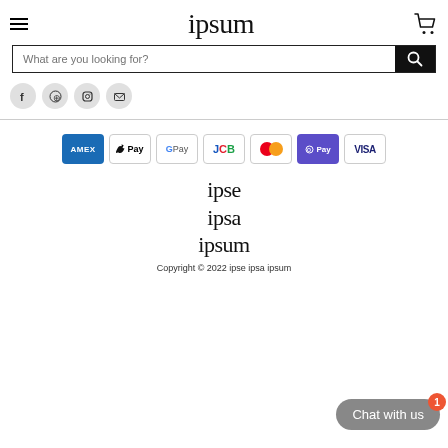ipsum
What are you looking for?
[Figure (infographic): Social media icons: Facebook, Pinterest, Instagram, Email]
[Figure (infographic): Payment method badges: AMEX, Apple Pay, G Pay, JCB, Mastercard, O Pay, VISA]
[Figure (logo): Footer logo with stacked text: ipse / ipsa / ipsum]
Copyright © 2022 ipse ipsa ipsum